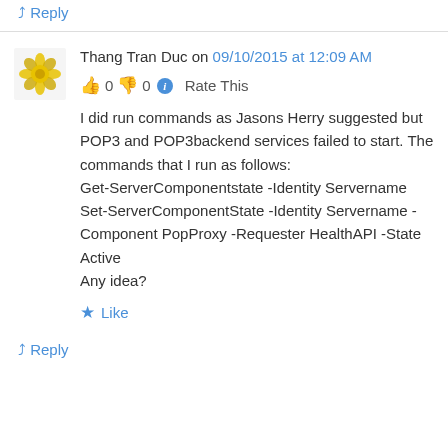↳ Reply
Thang Tran Duc on 09/10/2015 at 12:09 AM
👍 0 👎 0 ℹ Rate This
I did run commands as Jasons Herry suggested but POP3 and POP3backend services failed to start. The commands that I run as follows:
Get-ServerComponentstate -Identity Servername
Set-ServerComponentState -Identity Servername -Component PopProxy -Requester HealthAPI -State Active
Any idea?
★ Like
↳ Reply